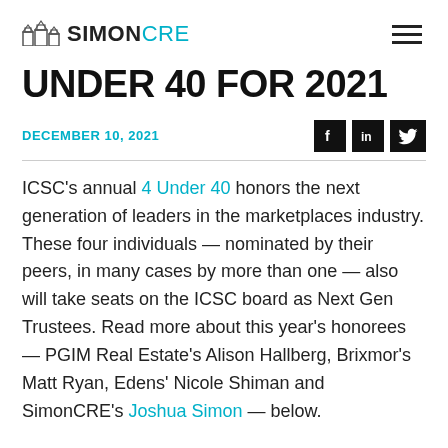SIMONCRE
UNDER 40 FOR 2021
DECEMBER 10, 2021
ICSC's annual 4 Under 40 honors the next generation of leaders in the marketplaces industry. These four individuals — nominated by their peers, in many cases by more than one — also will take seats on the ICSC board as Next Gen Trustees. Read more about this year's honorees — PGIM Real Estate's Alison Hallberg, Brixmor's Matt Ryan, Edens' Nicole Shiman and SimonCRE's Joshua Simon — below.